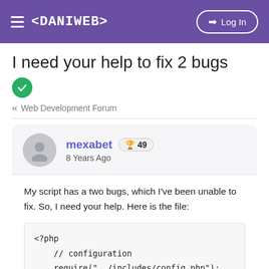< DANIWEB >  Log In
I need your help to fix 2 bugs
« Web Development Forum
mexabet 🏆 49
8 Years Ago
My script has a two bugs, which I've been unable to fix. So, I need your help. Here is the file:
<?php
    // configuration
    require("../includes/config.php");